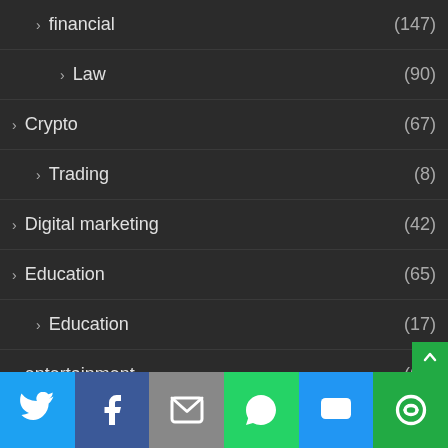financial (147)
Law (90)
Crypto (67)
Trading (8)
Digital marketing (42)
Education (65)
Education (17)
entertainment (63)
family (9)
family (1)
Fashion (73)
Featured (127)
Games (51)